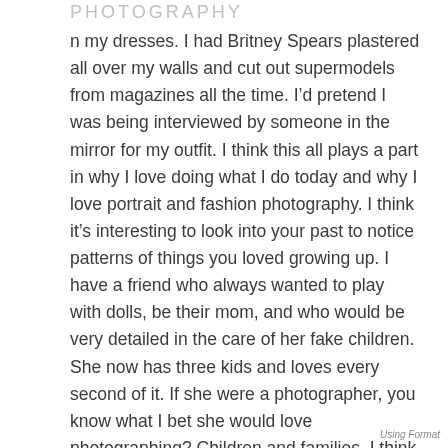PHOTOGRAPHY
n my dresses. I had Britney Spears plastered all over my walls and cut out supermodels from magazines all the time. I’d pretend I was being interviewed by someone in the mirror for my outfit. I think this all plays a part in why I love doing what I do today and why I love portrait and fashion photography. I think it’s interesting to look into your past to notice patterns of things you loved growing up. I have a friend who always wanted to play with dolls, be their mom, and who would be very detailed in the care of her fake children. She now has three kids and loves every second of it. If she were a photographer, you know what I bet she would love photographing? Children and families. I think it would just make sense
Using Format